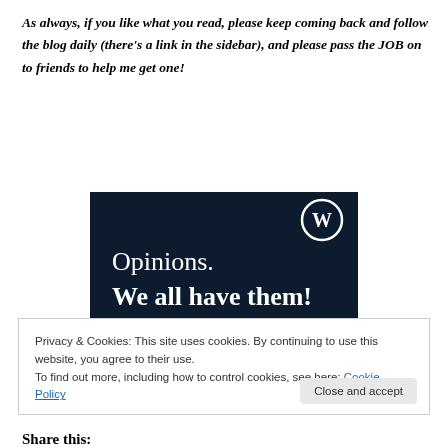As always, if you like what you read, please keep coming back and follow the blog daily (there's a link in the sidebar), and please pass the JOB on to friends to help me get one!
[Figure (illustration): WordPress promotional banner with dark navy background showing text 'Opinions. We all have them!' with WordPress logo in top right corner and a pink button at bottom.]
Privacy & Cookies: This site uses cookies. By continuing to use this website, you agree to their use.
To find out more, including how to control cookies, see here: Cookie Policy
Share this: